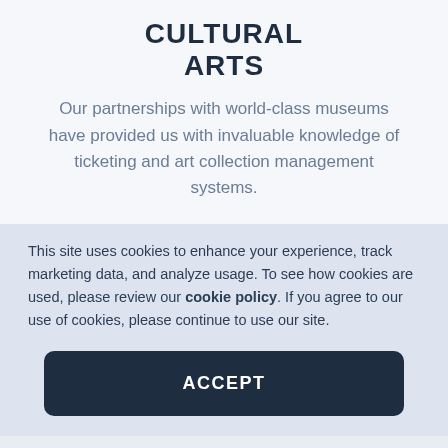CULTURAL ARTS
Our partnerships with world-class museums have provided us with invaluable knowledge of ticketing and art collection management systems.
This site uses cookies to enhance your experience, track marketing data, and analyze usage. To see how cookies are used, please review our cookie policy. If you agree to our use of cookies, please continue to use our site.
ACCEPT